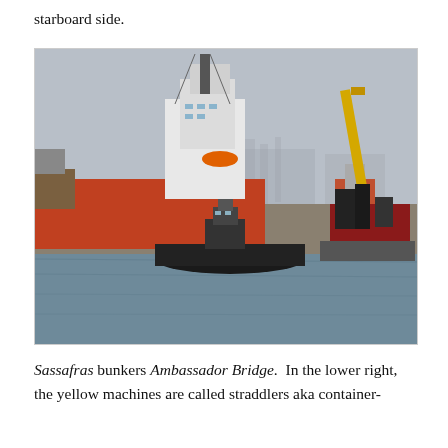starboard side.
[Figure (photo): Harbor scene showing tugboats and large ships. A black tugboat is in the foreground on the water. Behind it is a large ship with white superstructure and red/orange hull. To the right are industrial cranes including a prominent yellow crane and red machinery on a barge. The skyline is visible in the hazy background.]
Sassafras bunkers Ambassador Bridge.  In the lower right, the yellow machines are called straddlers aka container-